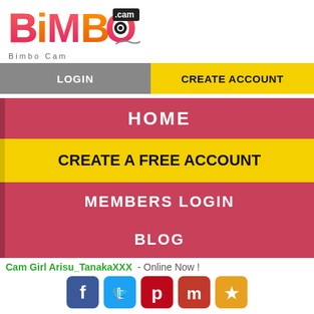[Figure (logo): BimboO.cam logo with colorful stylized text and camera icon]
Bimbo Cam
LOGIN   CREATE ACCOUNT
HOME
CREATE A FREE ACCOUNT
MEMBERS LOGIN
BLOG
Cam Girl Arisu_TanakaXXX  - Online Now !
[Figure (infographic): Social sharing buttons: Facebook, Twitter, Pinterest, Mix, Favorites star]
Ex top NYC stripper. Use my fuck machine until I cum.